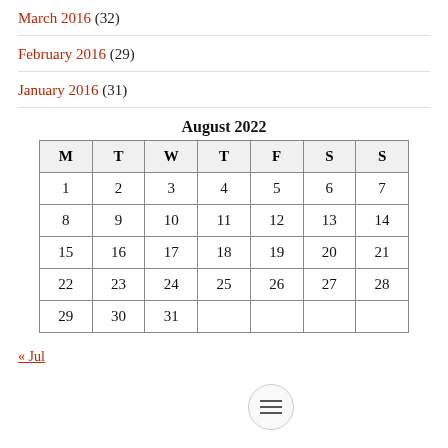March 2016 (32)
February 2016 (29)
January 2016 (31)
| M | T | W | T | F | S | S |
| --- | --- | --- | --- | --- | --- | --- |
| 1 | 2 | 3 | 4 | 5 | 6 | 7 |
| 8 | 9 | 10 | 11 | 12 | 13 | 14 |
| 15 | 16 | 17 | 18 | 19 | 20 | 21 |
| 22 | 23 | 24 | 25 | 26 | 27 | 28 |
| 29 | 30 | 31 |  |  |  |  |
« Jul